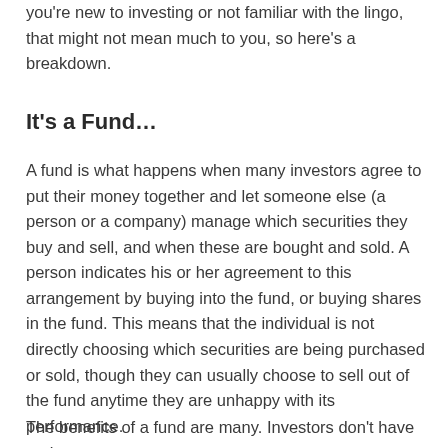you're new to investing or not familiar with the lingo, that might not mean much to you, so here's a breakdown.
It's a Fund…
A fund is what happens when many investors agree to put their money together and let someone else (a person or a company) manage which securities they buy and sell, and when these are bought and sold. A person indicates his or her agreement to this arrangement by buying into the fund, or buying shares in the fund. This means that the individual is not directly choosing which securities are being purchased or sold, though they can usually choose to sell out of the fund anytime they are unhappy with its performance.
The benefits of a fund are many. Investors don't have to do